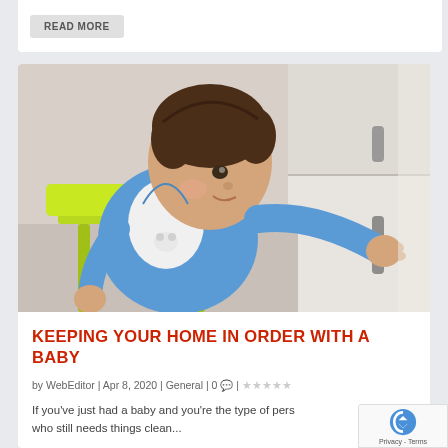READ MORE
[Figure (photo): A baby in a blue shirt and white bib sitting in a green high chair, reaching toward a wooden drawer handle on white furniture.]
KEEPING YOUR HOME IN ORDER WITH A BABY
by WebEditor | Apr 8, 2020 | General | 0 💬 | ★★★★★
If you've just had a baby and you're the type of pers who still needs things clean...